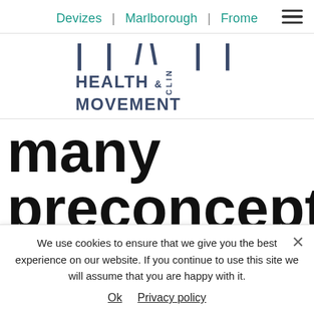Devizes | Marlborough | Frome
[Figure (logo): HART Health & Movement clinic logo with large letters H-A-R-T at top, HEALTH & CLIN (vertical) and MOVEMENT text below]
many preconceptions about what a
We use cookies to ensure that we give you the best experience on our website. If you continue to use this site we will assume that you are happy with it.
Ok   Privacy policy